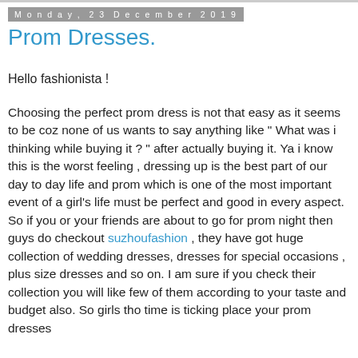Monday, 23 December 2019
Prom Dresses.
Hello fashionista !
Choosing the perfect prom dress is not that easy as it seems to be coz none of us wants to say anything like " What was i thinking while buying it ? " after actually buying it. Ya i know this is the worst feeling , dressing up is the best part of our day to day life and prom which is one of the most important event of a girl's life must be perfect and good in every aspect. So if you or your friends are about to go for prom night then guys do checkout suzhoufashion , they have got huge collection of wedding dresses, dresses for special occasions , plus size dresses and so on. I am sure if you check their collection you will like few of them according to your taste and budget also. So girls tho time is ticking place your prom dresses